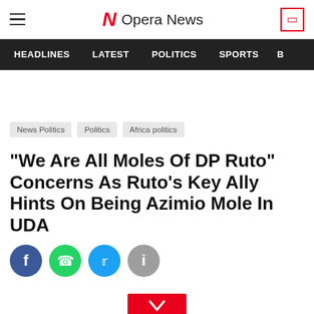Opera News
HEADLINES   LATEST   POLITICS   SPORTS
News Politics   Politics   Africa politics
"We Are All Moles Of DP Ruto" Concerns As Ruto's Key Ally Hints On Being Azimio Mole In UDA
[Figure (other): Social share buttons: Facebook, WhatsApp, Twitter, Info]
[Figure (other): Red scroll-down chevron button]